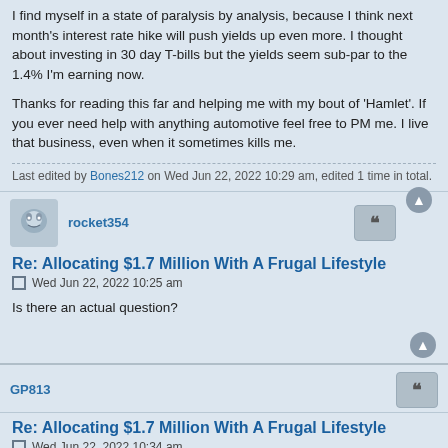I find myself in a state of paralysis by analysis, because I think next month's interest rate hike will push yields up even more. I thought about investing in 30 day T-bills but the yields seem sub-par to the 1.4% I'm earning now.
Thanks for reading this far and helping me with my bout of 'Hamlet'. If you ever need help with anything automotive feel free to PM me. I live that business, even when it sometimes kills me.
Last edited by Bones212 on Wed Jun 22, 2022 10:29 am, edited 1 time in total.
rocket354
Re: Allocating $1.7 Million With A Frugal Lifestyle
Wed Jun 22, 2022 10:25 am
Is there an actual question?
GP813
Re: Allocating $1.7 Million With A Frugal Lifestyle
Wed Jun 22, 2022 10:34 am